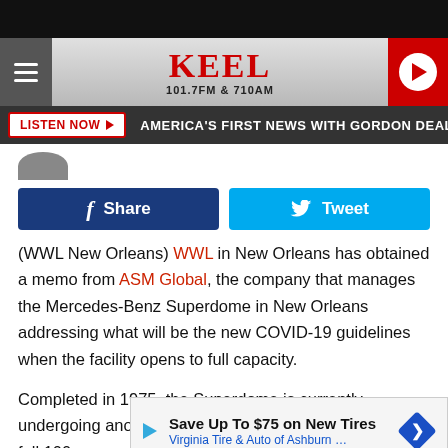[Figure (screenshot): KEEL 101.7FM & 710AM radio station website header with hamburger menu, logo, and play button]
LISTEN NOW ▶  AMERICA'S FIRST NEWS WITH GORDON DEAL  TI
[Figure (screenshot): Facebook Share and Twitter Tweet social media buttons]
(WWL New Orleans) WWL in New Orleans has obtained a memo from ASM Global, the company that manages the Mercedes-Benz Superdome in New Orleans addressing what will be the new COVID-19 guidelines when the facility opens to full capacity.
Completed in 1975, the Superdome is currently undergoing anothe... irst full 100... ing the
[Figure (screenshot): Advertisement overlay: Save Up To $75 on New Tires — Virginia Tire & Auto of Ashburn ...]